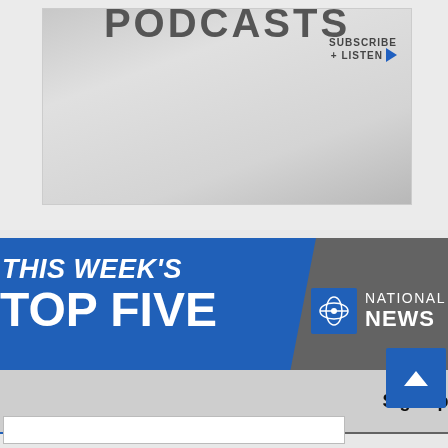[Figure (screenshot): Podcast banner with the word PODCASTS in large grey text, and 'SUBSCRIBE + LISTEN' with a blue play triangle on the right side. Grey gradient background.]
[Figure (screenshot): APTN National News 'This Week's Top Five' promotional banner. Blue background on left with large white bold text reading 'THIS WEEK'S TOP FIVE' and subtitle 'the most popular stories from this week'. Grey section on right with APTN logo and 'NATIONAL NEWS' text.]
Sign up now!
[Figure (screenshot): Blue 'back to top' button with upward chevron arrow, and partial text input bar at the bottom.]